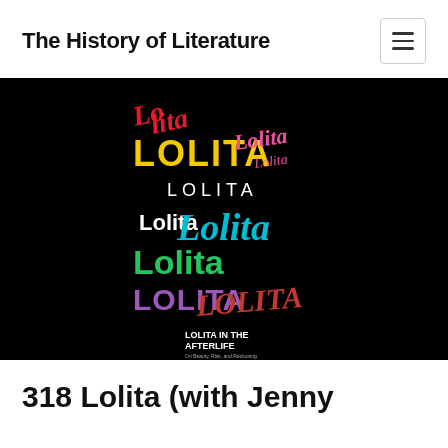The History of Literature
[Figure (photo): Book cover of 'Lolita in the Afterlife' edited by Jenny Minton Quigley, featuring the word LOLITA repeated in various fonts, sizes, and colors (red, yellow, pink, white, blue, green, purple, dark red) on a black background.]
318 Lolita (with Jenny